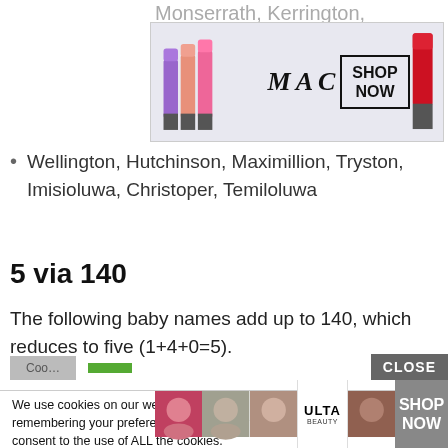Monserrath, Kerrington, Roosevelt,
[Figure (photo): MAC lipsticks advertisement banner with colorful lipsticks and SHOP NOW button]
Wellington, Hutchinson, Maximillion, Tryston, Imisioluwa, Christoper, Temiloluwa
5 via 140
The following baby names add up to 140, which reduces to five (1+4+0=5).
We use cookies on our website to give you the most relevant experience by remembering your preferences and repeat visits. By clicking “Accept”, you consent to the use of ALL the cookies.
Do not sell my personal information.
[Figure (photo): ULTA beauty advertisement banner with makeup faces and SHOP NOW button]